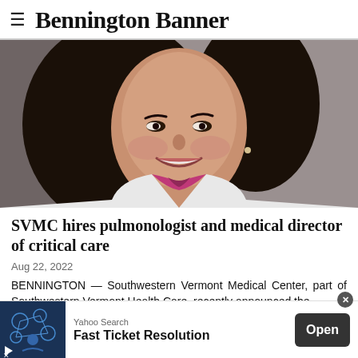Bennington Banner
[Figure (photo): Headshot photo of a woman with long dark hair, smiling, wearing a white coat and pink top, on a gray background — a medical professional portrait.]
SVMC hires pulmonologist and medical director of critical care
Aug 22, 2022
BENNINGTON — Southwestern Vermont Medical Center, part of Southwestern Vermont Health Care, recently announced the
[Figure (screenshot): Advertisement bar: Yahoo Search ad for 'Fast Ticket Resolution' with an Open button, showing a tech/AI themed thumbnail image with a play icon.]